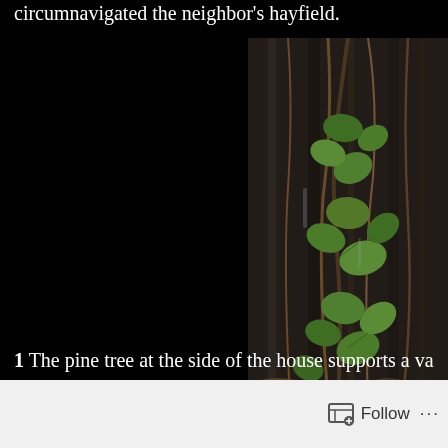circumnavigated the neighbor's hayfield.
[Figure (photo): Photo of green ivy or vine climbing up a dark tree trunk, with brown vines and leaf litter at the base. Natural forest setting.]
1 The pine tree at the side of the house supports a va
Follow ...